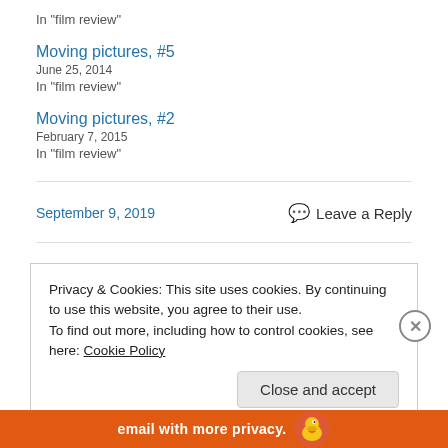In "film review"
Moving pictures, #5
June 25, 2014
In "film review"
Moving pictures, #2
February 7, 2015
In "film review"
September 9, 2019
Leave a Reply
Privacy & Cookies: This site uses cookies. By continuing to use this website, you agree to their use.
To find out more, including how to control cookies, see here: Cookie Policy
Close and accept
email with more privacy.